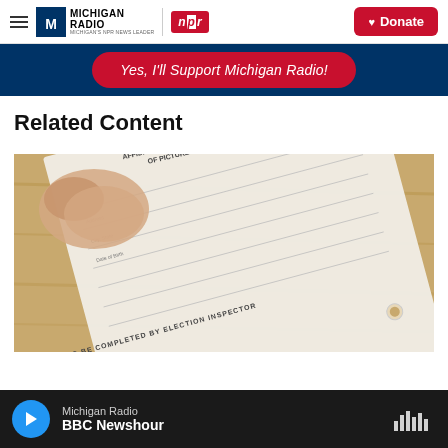Michigan Radio | NPR | Donate
Yes, I'll Support Michigan Radio!
Related Content
[Figure (photo): A voter ID affidavit form being held, showing text 'AFFIDAVIT OF VOTER NOT IN POSSESSION OF PICTURE IDENTIFICATION' and 'TO BE COMPLETED BY ELECTION INSPECTOR']
Michigan Radio | BBC Newshour